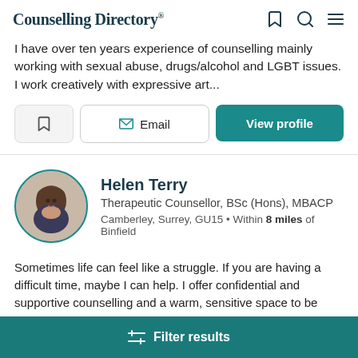Counselling Directory
I have over ten years experience of counselling mainly working with sexual abuse, drugs/alcohol and LGBT issues. I work creatively with expressive art...
Email | View profile
Helen Terry
Therapeutic Counsellor, BSc (Hons), MBACP
Camberley, Surrey, GU15 • Within 8 miles of Binfield
Sometimes life can feel like a struggle. If you are having a difficult time, maybe I can help. I offer confidential and supportive counselling and a warm, sensitive space to be
Filter results